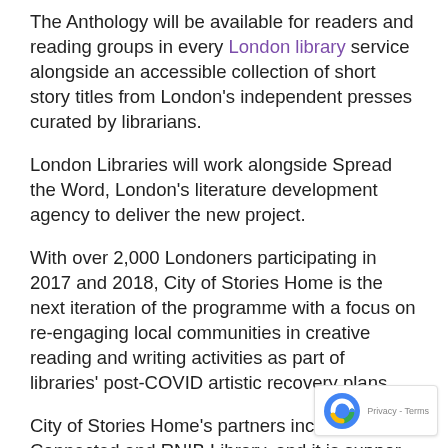The Anthology will be available for readers and reading groups in every London library service alongside an accessible collection of short story titles from London's independent presses curated by librarians.
London Libraries will work alongside Spread the Word, London's literature development agency to deliver the new project.
With over 2,000 Londoners participating in 2017 and 2018, City of Stories Home is the next iteration of the programme with a focus on re-engaging local communities in creative reading and writing activities as part of libraries' post-COVID artistic recovery plans.
City of Stories Home's partners include Libraries Connected and RNIB Library, and it is supported by Arts Council England and Cockayne Grants for the